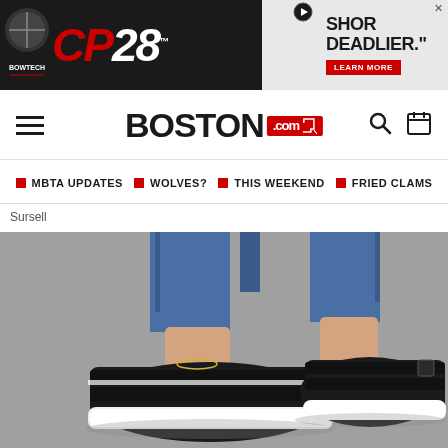[Figure (screenshot): CP28 Bowtech advertisement banner, black and red branding with 'SHORTER. DEADLIER.' tagline and 'LEARN MORE' button]
BOSTON.com
MBTA UPDATES   WOLVES?   THIS WEEKEND   FRIED CLAMS
Sursell
[Figure (photo): Close-up photo of a person wearing black athletic sandals/sneakers with velcro straps and white soles, paired with blue jeans and a gold anklet, photographed on a gray surface]